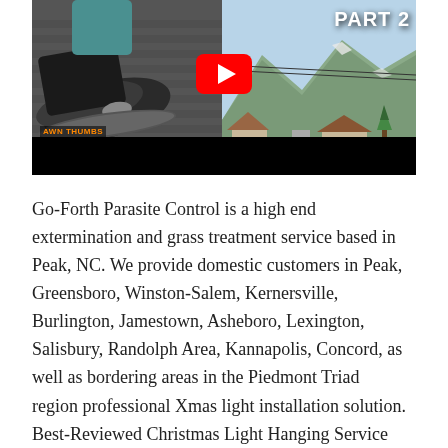[Figure (screenshot): YouTube video thumbnail showing a person's shoe on a roof gutter on the left side, and a mountain/neighborhood scene on the right side with 'PART 2' text and a YouTube play button overlay. A 'Dawn Thumbs' logo is visible on the lower left.]
Go-Forth Parasite Control is a high end extermination and grass treatment service based in Peak, NC. We provide domestic customers in Peak, Greensboro, Winston-Salem, Kernersville, Burlington, Jamestown, Asheboro, Lexington, Salisbury, Randolph Area, Kannapolis, Concord, as well as bordering areas in the Piedmont Triad region professional Xmas light installation solution. Best-Reviewed Christmas Light Hanging Service Company We have actually been